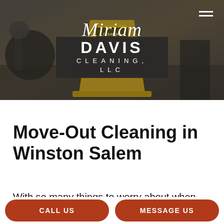[Figure (photo): Hero banner showing cleaning equipment and a yellow 'Cleaning in Progress' caution sign on a floor, with Miriam Davis Cleaning LLC logo overlaid on a dark background]
Move-Out Cleaning in Winston Salem
With so many things to worry about when
CALL US
MESSAGE US